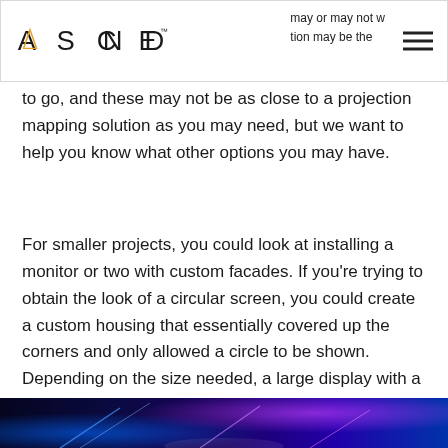ASCEND™ | may or may not w... | tion may be the...
to go, and these may not be as close to a projection mapping solution as you may need, but we want to help you know what other options you may have.
For smaller projects, you could look at installing a monitor or two with custom facades. If you're trying to obtain the look of a circular screen, you could create a custom housing that essentially covered up the corners and only allowed a circle to be shown. Depending on the size needed, a large display with a custom housing could be a more cost effective option.
[Figure (photo): Dark atmospheric photo with blue and purple laser/light streaks on a dark background, shown as a horizontal strip at the bottom of the page.]